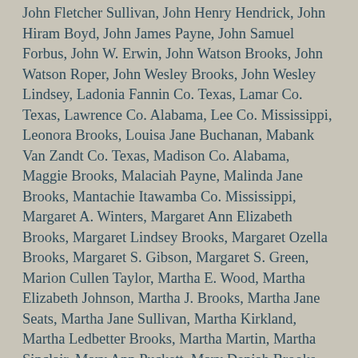John Fletcher Sullivan, John Henry Hendrick, John Hiram Boyd, John James Payne, John Samuel Forbus, John W. Erwin, John Watson Brooks, John Watson Roper, John Wesley Brooks, John Wesley Lindsey, Ladonia Fannin Co. Texas, Lamar Co. Texas, Lawrence Co. Alabama, Lee Co. Mississippi, Leonora Brooks, Louisa Jane Buchanan, Mabank Van Zandt Co. Texas, Madison Co. Alabama, Maggie Brooks, Malaciah Payne, Malinda Jane Brooks, Mantachie Itawamba Co. Mississippi, Margaret A. Winters, Margaret Ann Elizabeth Brooks, Margaret Lindsey Brooks, Margaret Ozella Brooks, Margaret S. Gibson, Margaret S. Green, Marion Cullen Taylor, Martha E. Wood, Martha Elizabeth Johnson, Martha J. Brooks, Martha Jane Seats, Martha Jane Sullivan, Martha Kirkland, Martha Ledbetter Brooks, Martha Martin, Martha Sinclair, Mary Ann Puckett, Mary Deniah Brooks, Mary Edith Sula Brooks, Mary Elizabeth Kennon, Mary Elizabeth Orman, Mary Ellen Burns, Mary J. Gilstrap, Mary J. Payne, Mary Melissa Patterson, Mary Orr, Mary R. Stewart, McMinnville Warren Co. Tennessee, Melissa Carolina Brown, Melissa Payne, Melvida Brooks, Mina V. Jeter, Minnie Belle Brooks, Monroe Co. Mississippi, Monterey Hinds, Mooreville Lee Co. Mississippi, Morgan Co. Alabama, Nancy Jane Gibson, Nancy T. Frederick, Navarro Co.